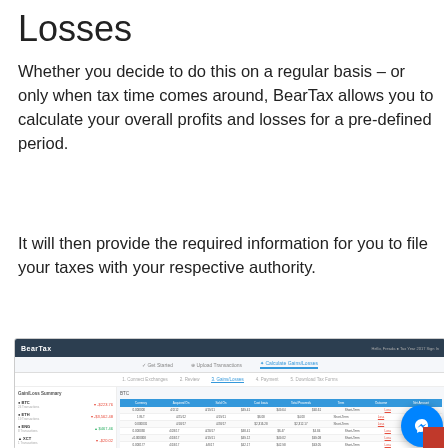Losses
Whether you decide to do this on a regular basis – or only when tax time comes around, BearTax allows you to calculate your overall profits and losses for a pre-defined period.
It will then provide the required information for you to file your taxes with your respective authority.
[Figure (screenshot): Screenshot of BearTax application showing the 'Calculate Gains/Losses' interface with a Gain/Loss Summary sidebar listing BTC, ETH, ENG, XCT, XRP, LNK, and Final coins with their gains/losses, and a main table showing detailed transaction data with columns for Currency, Acquired On, Sold On, Cost basis, Total Proceeds, Term, Outcome, and Net Amount. A Facebook Messenger chat button appears in the bottom right corner.]